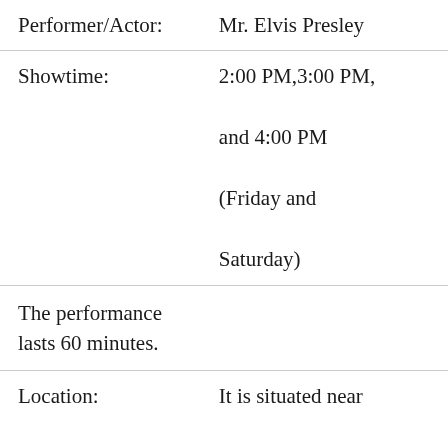| Performer/Actor: | Mr. Elvis Presley |
| Showtime: | 2:00 PM,3:00 PM, and 4:00 PM (Friday and Saturday) |
| The performance lasts 60 minutes. |  |
| Location: | It is situated near Boulevard South, las vegas |
| Age restriction: | Minimum is 18 or |